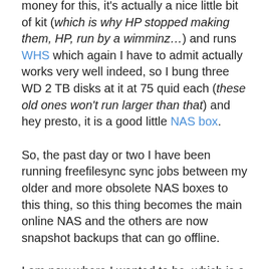money for this, it's actually a nice little bit of kit (which is why HP stopped making them, HP, run by a wimminz…) and runs WHS which again I have to admit actually works very well indeed, so I bung three WD 2 TB disks at it at 75 quid each (these old ones won't run larger than that) and hey presto, it is a good little NAS box.
So, the past day or two I have been running freefilesync sync jobs between my older and more obsolete NAS boxes to this thing, so this thing becomes the main online NAS and the others are now snapshot backups that can go offline.
I am now where I wanted to be, which is a single small portable box that contains all my digital shit, for around 250 notes I have 6 Tb (expandable to 8) of fairly responsive NAS storage.